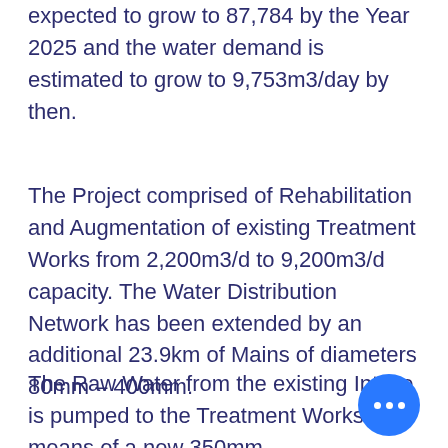expected to grow to 87,784 by the Year 2025 and the water demand is estimated to grow to 9,753m3/day by then.
The Project comprised of Rehabilitation and Augmentation of existing Treatment Works from 2,200m3/d to 9,200m3/d capacity. The Water Distribution Network has been extended by an additional 23.9km of Mains of diameters 80mm – 400mm.
The Raw Water from the existing Intake is pumped to the Treatment Works by means of a new 350mm